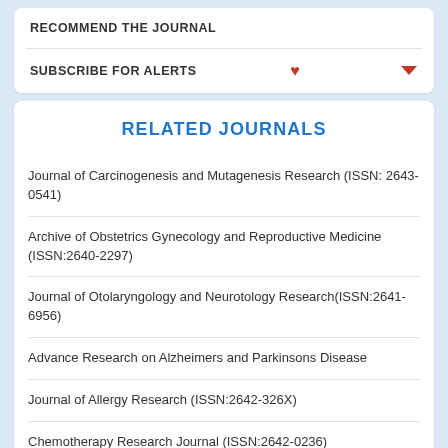RECOMMEND THE JOURNAL
SUBSCRIBE FOR ALERTS
RELATED JOURNALS
Journal of Carcinogenesis and Mutagenesis Research (ISSN: 2643-0541)
Archive of Obstetrics Gynecology and Reproductive Medicine (ISSN:2640-2297)
Journal of Otolaryngology and Neurotology Research(ISSN:2641-6956)
Advance Research on Alzheimers and Parkinsons Disease
Journal of Allergy Research (ISSN:2642-326X)
Chemotherapy Research Journal (ISSN:2642-0236)